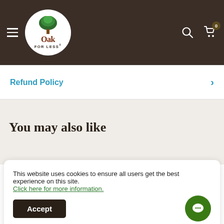[Figure (logo): Oak For Less logo: green tree above text 'Oak FOR LESS' in a white circle, set in a dark brown navigation header bar with hamburger menu, search icon, and cart icon with badge '0'.]
Refund Policy
You may also like
This website uses cookies to ensure all users get the best experience on this site. Click here for more information.
Accept